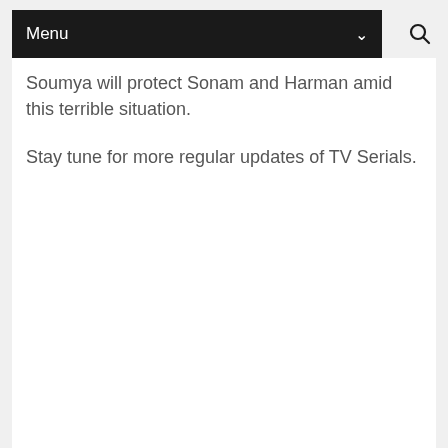Menu
Soumya will protect Sonam and Harman amid this terrible situation.
Stay tune for more regular updates of TV Serials.